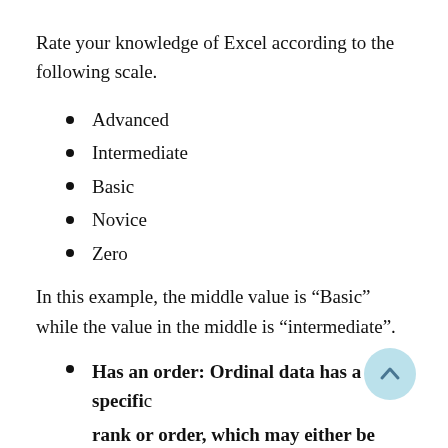Rate your knowledge of Excel according to the following scale.
Advanced
Intermediate
Basic
Novice
Zero
In this example, the middle value is “Basic” while the value in the middle is “intermediate”.
Has an order: Ordinal data has a specific rank or order, which may either be ascending
[Figure (other): Back to top button - circular light blue arrow button]